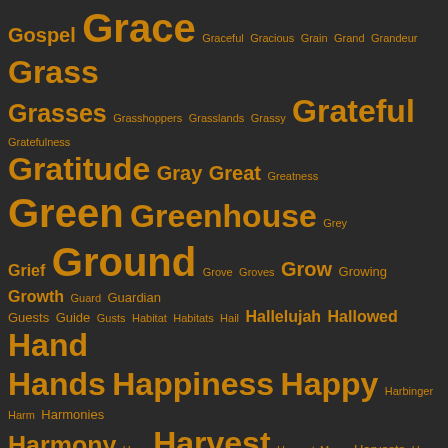[Figure (infographic): Word cloud on dark background with words related to nature, spirituality, and emotion. Words appear in varying sizes and weights in golden/amber color on a dark gray background. Words include: Gospel, Grace, Graceful, Gracious, Grain, Grand, Grandeur, Grass, Grasses, Grasshoppers, Grasslands, Grassy, Grateful, Gratefulness, Gratitude, Gray, Great, Greatness, Green, Greenhouse, Grey, Grief, Ground, Grove, Groves, Grow, Growing, Growth, Guard, Guardian, Guests, Guide, Gusts, Habitat, Habitats, Hail, Hallelujah, Hallowed, Hand, Hands, Happiness, Happy, Harbinger, Harm, Harmonies, Harmony, Harp, Harvest, Harvest Moon, Harvests, Haze, Head, Heads, Heal, Healer, Healing, Heals, Health, Hear, Hearing, Hears, Heart, Heartache, Heartbeat, Hearts, Heat, Heat Beast, Heaven, Heavenly, Heavens, Heirs, Help, Herbs, Hibiscus, Hidden, Hill, Hills, Hive, Hoe, Holiness, Hollyhock, Hollyhocks, Holy, Holy One, Holy Spirit, Holy Writ, Home, Honey, Honor, Hope, Hopeful, Hopes, Horizon, Host, Hot, Hours, House, Hues, Hug, Hum, Human, Human Being, Human Body, Humanity, Humans, Humble, Humility, Hummingbird]